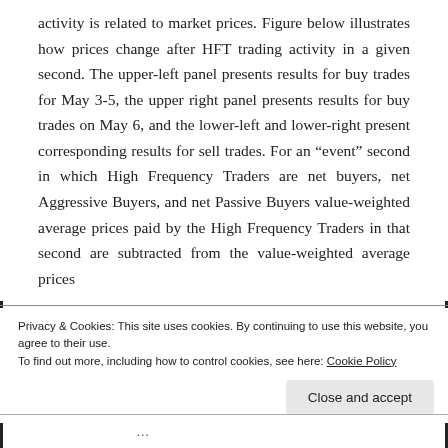activity is related to market prices. Figure below illustrates how prices change after HFT trading activity in a given second. The upper-left panel presents results for buy trades for May 3-5, the upper right panel presents results for buy trades on May 6, and the lower-left and lower-right present corresponding results for sell trades. For an “event” second in which High Frequency Traders are net buyers, net Aggressive Buyers, and net Passive Buyers value-weighted average prices paid by the High Frequency Traders in that second are subtracted from the value-weighted average prices
Privacy & Cookies: This site uses cookies. By continuing to use this website, you agree to their use.
To find out more, including how to control cookies, see here: Cookie Policy
Close and accept
...